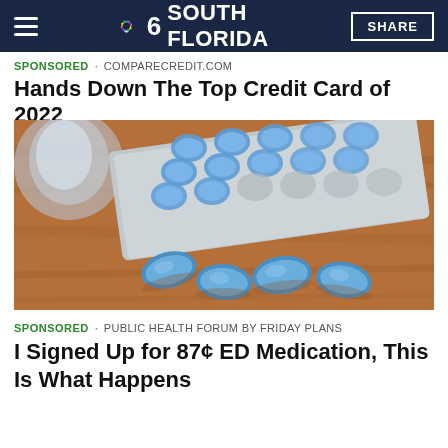NBC 6 SOUTH FLORIDA | SHARE
SPONSORED · COMPARECREDIT.COM
Hands Down The Top Credit Card of 2022
[Figure (photo): Blue oval pills (Viagra/ED medication) on a wooden surface next to a blister pack, with a glass of water blurred in background]
SPONSORED · PUBLIC HEALTH FORUM BY FRIDAY PLANS
I Signed Up for 87¢ ED Medication, This Is What Happens